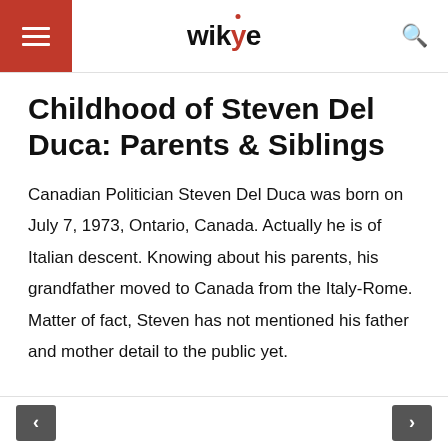wikye
Childhood of Steven Del Duca: Parents & Siblings
Canadian Politician Steven Del Duca was born on July 7, 1973, Ontario, Canada. Actually he is of Italian descent. Knowing about his parents, his grandfather moved to Canada from the Italy-Rome. Matter of fact, Steven has not mentioned his father and mother detail to the public yet.
< >